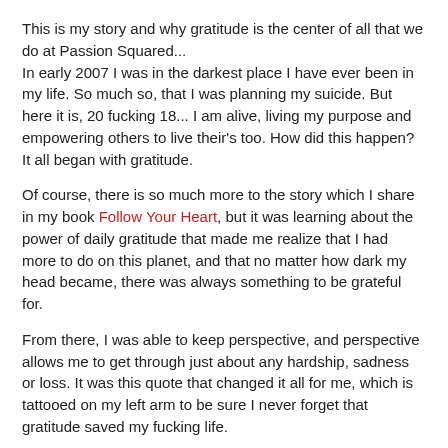This is my story and why gratitude is the center of all that we do at Passion Squared...
In early 2007 I was in the darkest place I have ever been in my life. So much so, that I was planning my suicide. But here it is, 20 fucking 18... I am alive, living my purpose and empowering others to live their's too. How did this happen? It all began with gratitude.
Of course, there is so much more to the story which I share in my book Follow Your Heart, but it was learning about the power of daily gratitude that made me realize that I had more to do on this planet, and that no matter how dark my head became, there was always something to be grateful for.
From there, I was able to keep perspective, and perspective allows me to get through just about any hardship, sadness or loss. It was this quote that changed it all for me, which is tattooed on my left arm to be sure I never forget that gratitude saved my fucking life.
Gratitude unlocks the fullness of life. It turns what we have into enough, and more. It turns denial into acceptance,